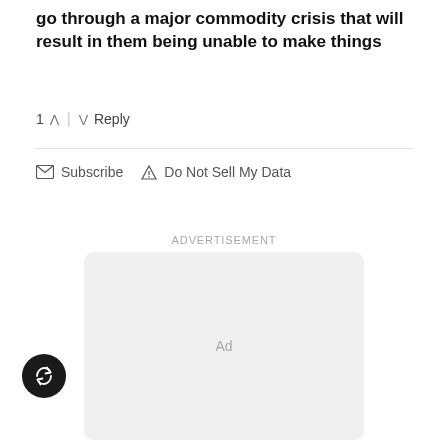go through a major commodity crisis that will result in them being unable to make things
1 ∧ | ∨ Reply
✉ Subscribe ▲ Do Not Sell My Data
ADVERTISEMENT
[Figure (other): Gray advertisement placeholder box with 'Ad' text in center]
[Figure (other): Dark circular share/refresh button on left side]